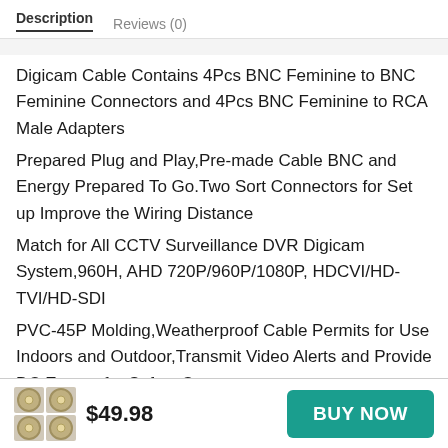Description   Reviews (0)
Digicam Cable Contains 4Pcs BNC Feminine to BNC Feminine Connectors and 4Pcs BNC Feminine to RCA Male Adapters
Prepared Plug and Play,Pre-made Cable BNC and Energy Prepared To Go.Two Sort Connectors for Set up Improve the Wiring Distance
Match for All CCTV Surveillance DVR Digicam System,960H, AHD 720P/960P/1080P, HDCVI/HD-TVI/HD-SDI
PVC-45P Molding,Weatherproof Cable Permits for Use Indoors and Outdoor,Transmit Video Alerts and Provide DC Energy for Safety Cameras
$49.98
BUY NOW